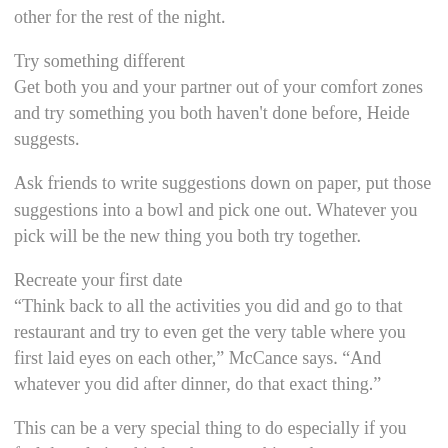other for the rest of the night.
Try something different
Get both you and your partner out of your comfort zones and try something you both haven't done before, Heide suggests.
Ask friends to write suggestions down on paper, put those suggestions into a bowl and pick one out. Whatever you pick will be the new thing you both try together.
Recreate your first date
“Think back to all the activities you did and go to that restaurant and try to even get the very table where you first laid eyes on each other,” McCance says. “And whatever you did after dinner, do that exact thing.”
This can be a very special thing to do especially if you feel the relationship has become a bit rocky,